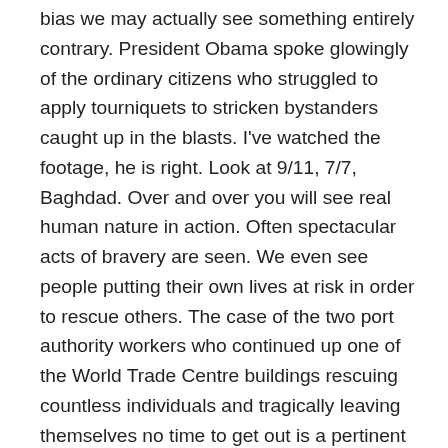bias we may actually see something entirely contrary. President Obama spoke glowingly of the ordinary citizens who struggled to apply tourniquets to stricken bystanders caught up in the blasts. I've watched the footage, he is right. Look at 9/11, 7/7, Baghdad. Over and over you will see real human nature in action. Often spectacular acts of bravery are seen. We even see people putting their own lives at risk in order to rescue others. The case of the two port authority workers who continued up one of the World Trade Centre buildings rescuing countless individuals and tragically leaving themselves no time to get out is a pertinent one. In 7/7 there was the man who remained with a complete stranger in the dark of an underground tunnel filled with death and smoke, for no other reason than he didn't want her to be alone. Every fibre in his being must have screamed for him to run, but he didn't.